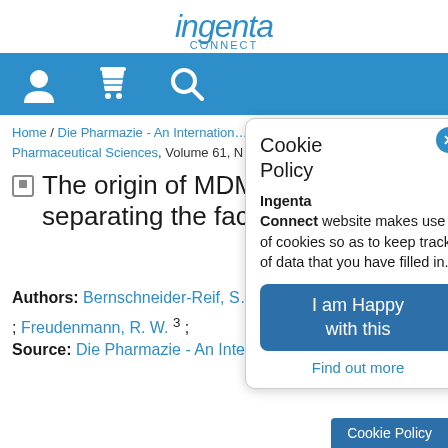ingenta CONNECT
[Figure (screenshot): Navigation bar with user, cart, and search icons on blue background]
Home / Die Pharmazie - An International Journal of Pharmaceutical Sciences, Volume 61, ...
The origin of MDMA ('Ec... separating the facts from t...
Authors: Bernschneider-Reif, S... ; Freudenmann, R. W. 3 ;
Source: Die Pharmazie - An Internati...
[Figure (screenshot): Cookie Policy popup dialog with close button, text about Ingenta Connect website cookies, 'I am Happy with this' button, and 'Find out more' link]
Cookie Policy